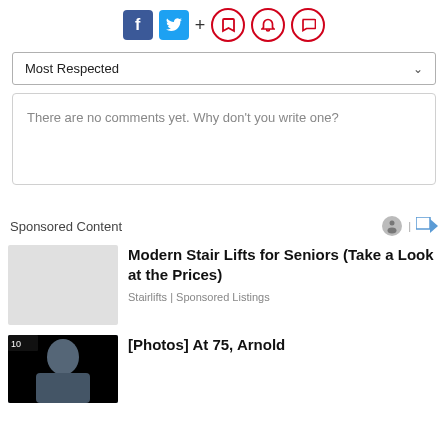[Figure (other): Social media sharing icons: Facebook (blue square), Twitter (blue square), plus sign, and three red circle icons (bookmark, bell, comment)]
Most Respected
There are no comments yet. Why don't you write one?
Sponsored Content
Modern Stair Lifts for Seniors (Take a Look at the Prices)
Stairlifts | Sponsored Listings
[Photos] At 75, Arnold